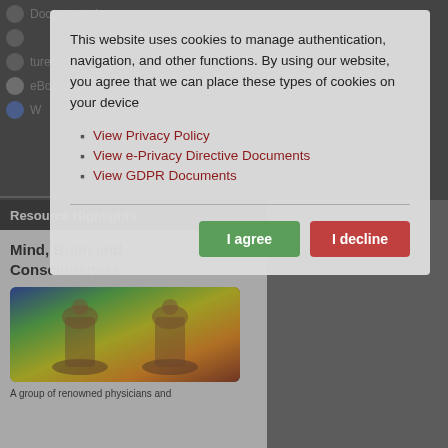[Figure (screenshot): Background website page with dark navigation area showing list items with bullet icons, a 'Resource Highlights' section header bar, a content area with title 'Mind, Brain and Consciousness', a colorful chess-piece image, and descriptive text 'A group of renowned physicians and']
This website uses cookies to manage authentication, navigation, and other functions. By using our website, you agree that we can place these types of cookies on your device
View Privacy Policy
View e-Privacy Directive Documents
View GDPR Documents
I agree
I decline